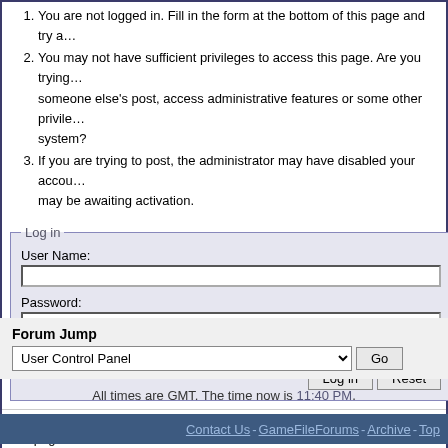1. You are not logged in. Fill in the form at the bottom of this page and try again.
2. You may not have sufficient privileges to access this page. Are you trying to edit someone else's post, access administrative features or some other privileged system?
3. If you are trying to post, the administrator may have disabled your account, or it may be awaiting activation.
Log in
User Name:
Password:
Remember Me?
Forgotten Your Password?
Log in   Reset
The administrator may have required you to register before you can view this page.
Forum Jump
User Control Panel
All times are GMT. The time now is 11:40 PM.
Contact Us - GameFileForums - Archive - Top
Powered by vBulletin® Version 3.8.9
Copyright ©2000 - 2022, vBulletin Solutions, Inc.
GameFileForums.com